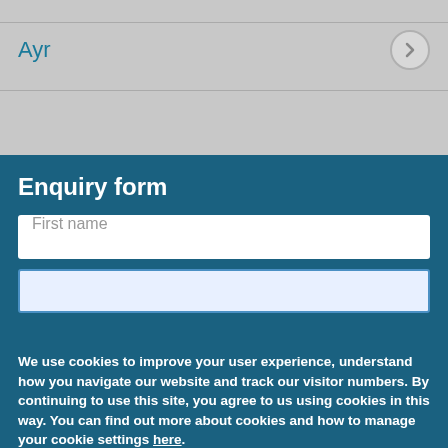Ayr
Enquiry form
First name
We use cookies to improve your user experience, understand how you navigate our website and track our visitor numbers. By continuing to use this site, you agree to us using cookies in this way. You can find out more about cookies and how to manage your cookie settings here.
OK